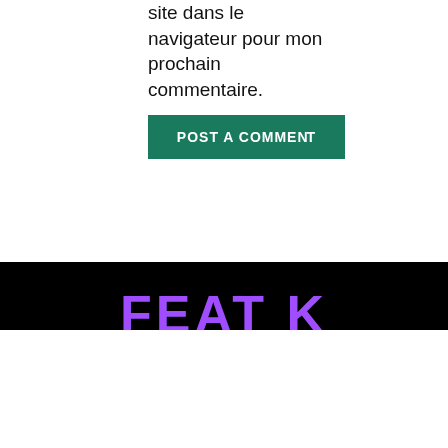site dans le navigateur pour mon prochain commentaire.
POST A COMMENT
[Figure (logo): FEAT K logo in purple on black background]
En poursuivant votre navigation sur ce site, vous acceptez l'utilisation de cookies pour réaliser des statistiques de l'usage du site.
Paramètres des cookies
Accepter